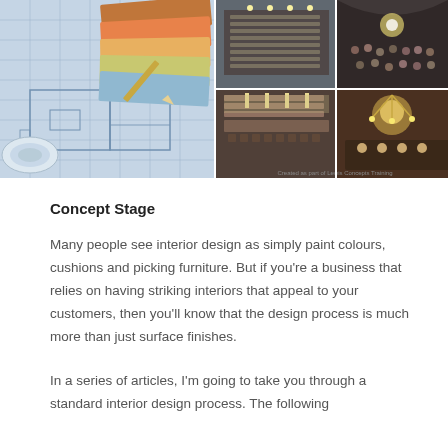[Figure (photo): Collage of interior design images including blueprint plans with fabric swatches, industrial event space, grand hall with people dining, library restaurant interior, chandelier banquet room, and tiled event space. Small watermark text: 'Created as part of Lewis Concepts Training']
Concept Stage
Many people see interior design as simply paint colours, cushions and picking furniture. But if you're a business that relies on having striking interiors that appeal to your customers, then you'll know that the design process is much more than just surface finishes.
In a series of articles, I'm going to take you through a standard interior design process. The following